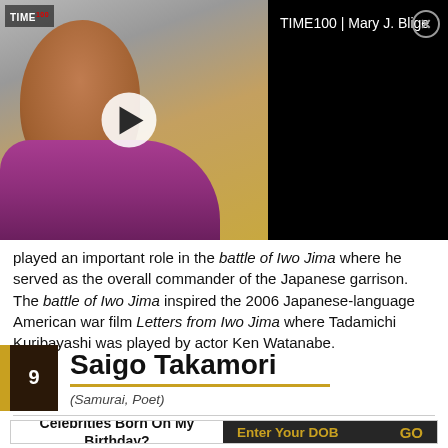[Figure (screenshot): Video player overlay showing a woman with blonde hair and purple scarf on the left thumbnail, and a black panel on the right with text 'TIME100 | Mary J. Blige' and a close button]
played an important role in the battle of Iwo Jima where he served as the overall commander of the Japanese garrison. The battle of Iwo Jima inspired the 2006 Japanese-language American war film Letters from Iwo Jima where Tadamichi Kuribayashi was played by actor Ken Watanabe.
9  Saigo Takamori
(Samurai, Poet)
Celebrities Born On My Birthday?
Enter Your DOB   GO